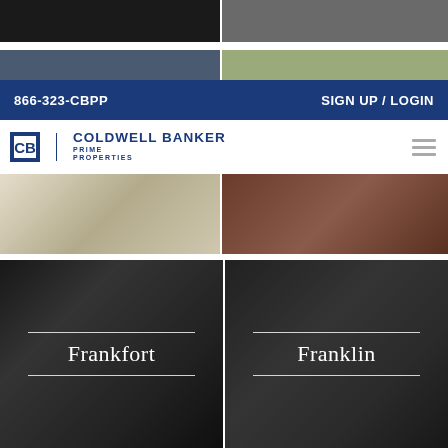[Figure (photo): Top strip: two partial property photos side by side (dark interior left, muted exterior right)]
[Figure (photo): Second strip: two partial property photos (blue-grey interior left, outdoor greenery right)]
866-323-CBPP   SIGN UP / LOGIN
[Figure (logo): Coldwell Banker Prime Properties logo with CB icon]
[Figure (photo): Middle strip: two property photos side by side (light wood interior left, person in red jacket outdoors right)]
[Figure (photo): Bottom left tile: dark interior dining room photo with city label Frankfort]
Frankfort
[Figure (photo): Bottom right tile: dark kitchen/interior photo with city label Franklin]
Franklin